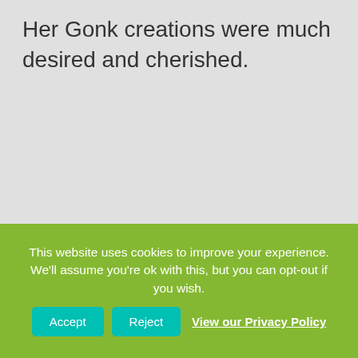Her Gonk creations were much desired and cherished.
This website uses cookies to improve your experience. We'll assume you're ok with this, but you can opt-out if you wish.
Accept  Reject  View our Privacy Policy